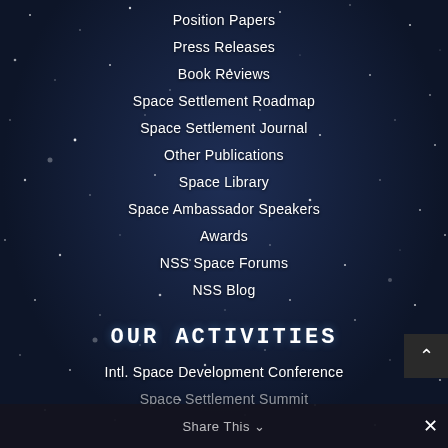Position Papers
Press Releases
Book Reviews
Space Settlement Roadmap
Space Settlement Journal
Other Publications
Space Library
Space Ambassador Speakers
Awards
NSS Space Forums
NSS Blog
OUR ACTIVITIES
Intl. Space Development Conference
Space Settlement Summit
Share This